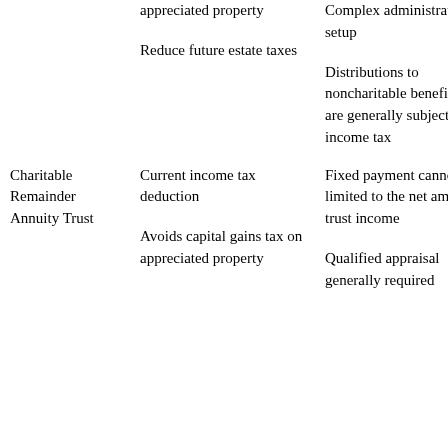|  | Benefits | Considerations |
| --- | --- | --- |
|  | appreciated property | Complex administration and setup |
|  | Reduce future estate taxes | Distributions to noncharitable beneficiaries are generally subject to income tax |
| Charitable Remainder Annuity Trust | Current income tax deduction | Fixed payment cannot be limited to the net amount of trust income |
|  | Avoids capital gains tax on appreciated property | Qualified appraisal generally required |